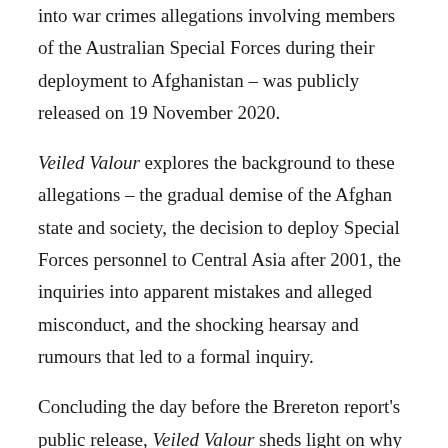into war crimes allegations involving members of the Australian Special Forces during their deployment to Afghanistan – was publicly released on 19 November 2020.
Veiled Valour explores the background to these allegations – the gradual demise of the Afghan state and society, the decision to deploy Special Forces personnel to Central Asia after 2001, the inquiries into apparent mistakes and alleged misconduct, and the shocking hearsay and rumours that led to a formal inquiry.
Concluding the day before the Brereton report's public release, Veiled Valour sheds light on why the inquiry was necessary, how its investigations were conducted, where the media influenced its direction, and what the public expect to be told about its military elite.